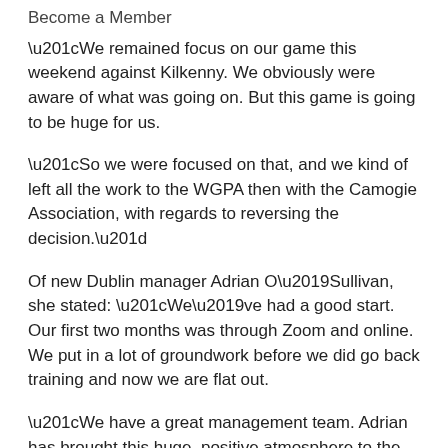Become a Member
“We remained focus on our game this weekend against Kilkenny. We obviously were aware of what was going on. But this game is going to be huge for us.
“So we were focused on that, and we kind of left all the work to the WGPA then with the Camogie Association, with regards to reversing the decision.”
Of new Dublin manager Adrian O’Sullivan, she stated: “We’ve had a good start. Our first two months was through Zoom and online. We put in a lot of groundwork before we did go back training and now we are flat out.
“We have a great management team. Adrian has brought this huge, positive atmosphere to the team and training has been really, really enjoyable.”